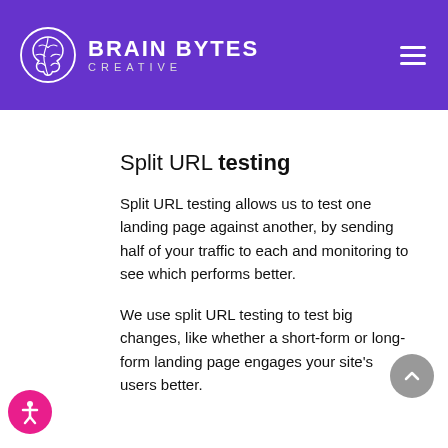BRAIN BYTES CREATIVE
Split URL testing
Split URL testing allows us to test one landing page against another, by sending half of your traffic to each and monitoring to see which performs better.
We use split URL testing to test big changes, like whether a short-form or long-form landing page engages your site's users better.